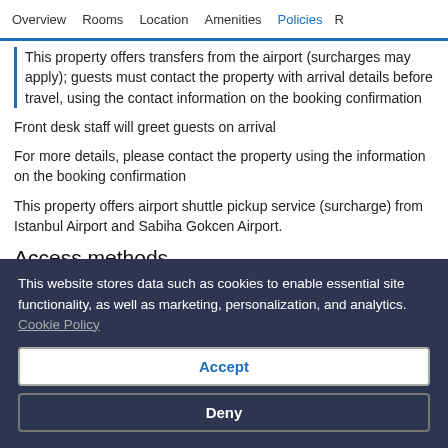Overview | Rooms | Location | Amenities | Policies | R
This property offers transfers from the airport (surcharges may apply); guests must contact the property with arrival details before travel, using the contact information on the booking confirmation
Front desk staff will greet guests on arrival
For more details, please contact the property using the information on the booking confirmation
This property offers airport shuttle pickup service (surcharge) from Istanbul Airport and Sabiha Gokcen Airport.
Access methods
This website stores data such as cookies to enable essential site functionality, as well as marketing, personalization, and analytics. Cookie Policy
Accept
Deny